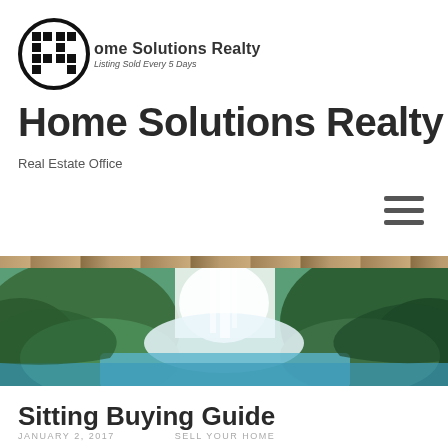[Figure (logo): Home Solutions Realty logo: black circular grid icon with company name and tagline 'Listing Sold Every 5 Days']
Home Solutions Realty
Real Estate Office
[Figure (photo): Waterfall photograph with green mossy rocks on sides, white cascading water in center, blue-green water at base, with a narrow wood-grain strip at the top of the image area]
Sitting Buying Guide
JANUARY 2, 2017   SELL YOUR HOME